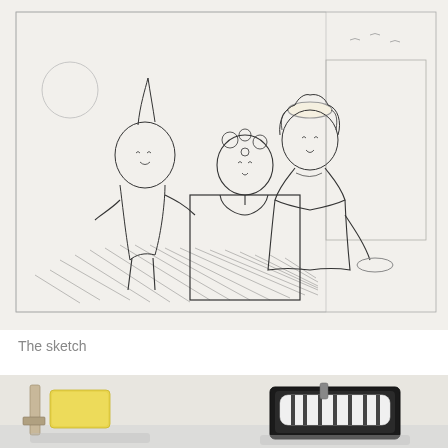[Figure (illustration): A pencil sketch on paper showing three stylized figures. On the left is a figure with a mohawk-style hairdo. In the center is a figure with flowers in hair displayed behind a framed rectangle. On the right is a figure with curly hair and a halo, seated at a table. The foreground is filled with cross-hatching lines suggesting a ground or surface. The sketch is framed by pencil-drawn borders indicating a planned composition layout.]
The sketch
[Figure (photo): A close-up photograph of art supplies on a white surface. On the left side is a yellow sponge or foam block and a paint palette knife or scraper. On the right side is a black rolling paint tray with a foam roller that has black and white striped marks on it.]